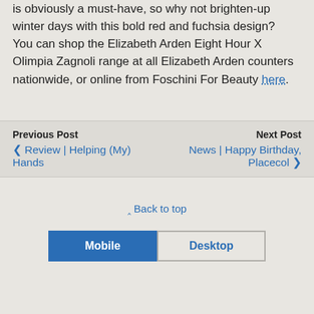is obviously a must-have, so why not brighten-up winter days with this bold red and fuchsia design?  You can shop the Elizabeth Arden Eight Hour X Olimpia Zagnoli range at all Elizabeth Arden counters nationwide, or online from Foschini For Beauty here.
Previous Post
◀ Review | Helping (My) Hands
Next Post
News | Happy Birthday, Placecol ▶
⌃ Back to top
Mobile  Desktop